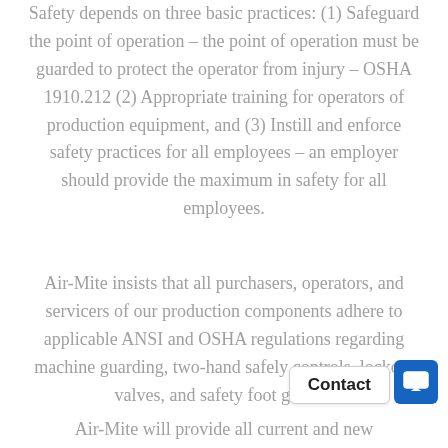Safety depends on three basic practices: (1) Safeguard the point of operation – the point of operation must be guarded to protect the operator from injury – OSHA 1910.212 (2) Appropriate training for operators of production equipment, and (3) Instill and enforce safety practices for all employees – an employer should provide the maximum in safety for all employees.
Air-Mite insists that all purchasers, operators, and servicers of our production components adhere to applicable ANSI and OSHA regulations regarding machine guarding, two-hand safely controls, lockout valves, and safety foot guards.
Air-Mite will provide all current and new